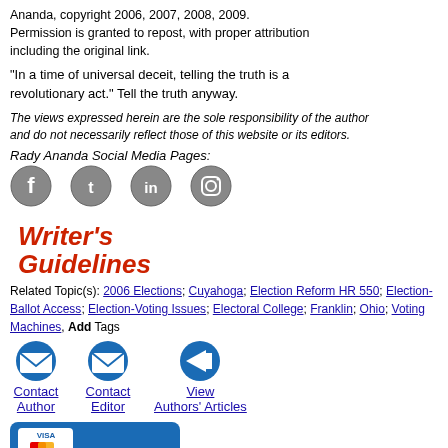Ananda, copyright 2006, 2007, 2008, 2009. Permission is granted to repost, with proper attribution including the original link.
"In a time of universal deceit, telling the truth is a revolutionary act." Tell the truth anyway.
The views expressed herein are the sole responsibility of the author and do not necessarily reflect those of this website or its editors.
Rady Ananda Social Media Pages:
[Figure (illustration): Social media icons: Facebook, Twitter, LinkedIn, Instagram]
[Figure (illustration): Writer's Guidelines logo in red cursive text]
Related Topic(s): 2006 Elections; Cuyahoga; Election Reform HR 550; Election- Ballot Access; Election-Voting Issues; Electoral College; Franklin; Ohio; Voting Machines, Add Tags
[Figure (illustration): Contact Author button with envelope icon]
[Figure (illustration): Contact Editor button with envelope icon]
[Figure (illustration): View Authors Articles button with arrow icon]
[Figure (illustration): Support OpEdNews button with Visa/Mastercard logos]
OpEdNews depends upon can't survive